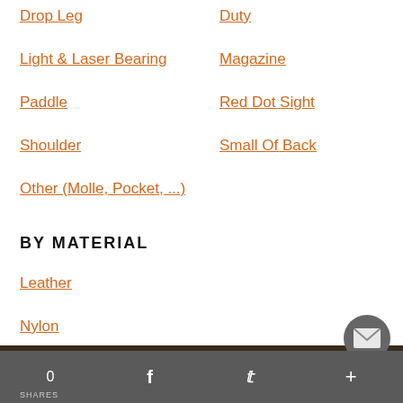Drop Leg
Duty
Light & Laser Bearing
Magazine
Paddle
Red Dot Sight
Shoulder
Small Of Back
Other (Molle, Pocket, ...)
BY MATERIAL
Leather
Nylon
0  SHARES